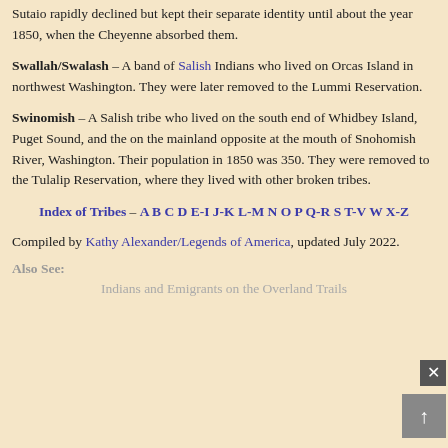Sutaio rapidly declined but kept their separate identity until about the year 1850, when the Cheyenne absorbed them.
Swallah/Swalash – A band of Salish Indians who lived on Orcas Island in northwest Washington. They were later removed to the Lummi Reservation.
Swinomish – A Salish tribe who lived on the south end of Whidbey Island, Puget Sound, and the on the mainland opposite at the mouth of Snohomish River, Washington. Their population in 1850 was 350. They were removed to the Tulalip Reservation, where they lived with other broken tribes.
Index of Tribes – A B C D E-I J-K L-M N O P Q-R S T-V W X-Z
Compiled by Kathy Alexander/Legends of America, updated July 2022.
Also See:
Indians and Emigrants on the Overland Trails